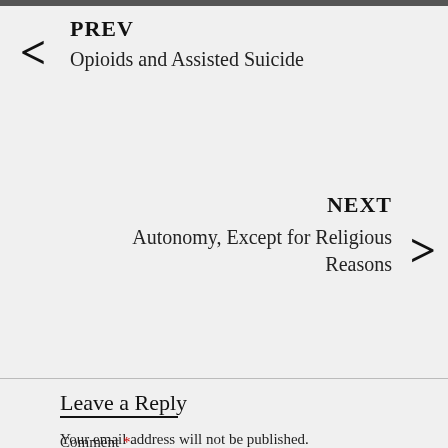PREV
Opioids and Assisted Suicide
NEXT
Autonomy, Except for Religious Reasons
Leave a Reply
Your email address will not be published. Required fields are marked *
Comment *